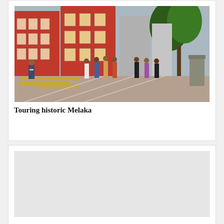[Figure (photo): Group of people walking and touring in historic Melaka square, with distinctive red colonial buildings in the background and trees on the right.]
Touring historic Melaka
[Figure (photo): A light gray placeholder image, content not fully visible.]